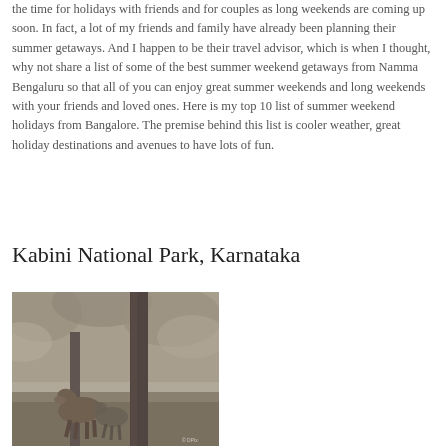the time for holidays with friends and for couples as long weekends are coming up soon. In fact, a lot of my friends and family have already been planning their summer getaways. And I happen to be their travel advisor, which is when I thought, why not share a list of some of the best summer weekend getaways from Namma Bengaluru so that all of you can enjoy great summer weekends and long weekends with your friends and loved ones. Here is my top 10 list of summer weekend holidays from Bangalore. The premise behind this list is cooler weather, great holiday destinations and avenues to have lots of fun.
Kabini National Park, Karnataka
[Figure (photo): Black and white photograph of deer near a tree trunk in a forest setting, likely at Kabini National Park]